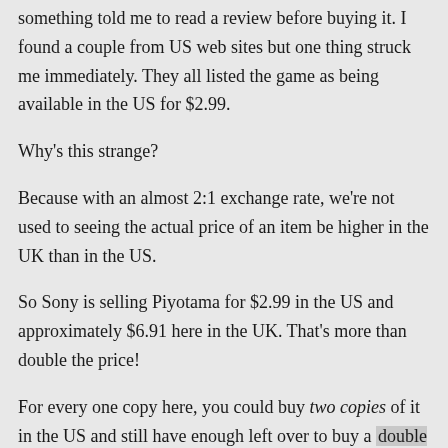something told me to read a review before buying it. I found a couple from US web sites but one thing struck me immediately. They all listed the game as being available in the US for $2.99.
Why's this strange?
Because with an almost 2:1 exchange rate, we're not used to seeing the actual price of an item be higher in the UK than in the US.
So Sony is selling Piyotama for $2.99 in the US and approximately $6.91 here in the UK. That's more than double the price!
For every one copy here, you could buy two copies of it in the US and still have enough left over to buy a double cheese burger at Burger King (though why you